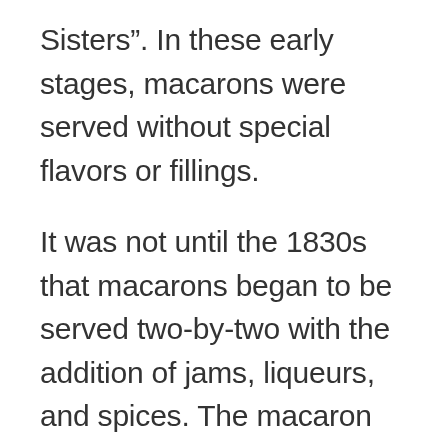Sisters". In these early stages, macarons were served without special flavors or fillings.
It was not until the 1830s that macarons began to be served two-by-two with the addition of jams, liqueurs, and spices. The macaron as it is known today, composed of two almond meringue discs filled with a layer of buttercream, jam, or